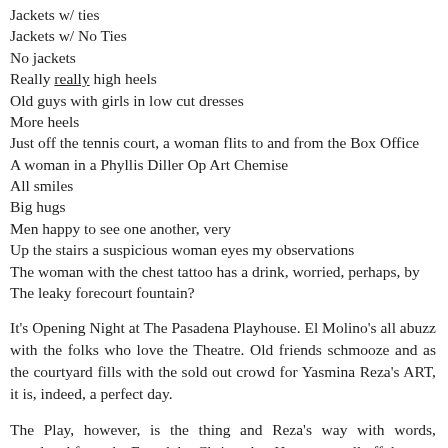Jackets w/ ties
Jackets w/ No Ties
No jackets
Really really high heels
Old guys with girls in low cut dresses
More heels
Just off the tennis court, a woman flits to and from the Box Office
A woman in a Phyllis Diller Op Art Chemise
All smiles
Big hugs
Men happy to see one another, very
Up the stairs a suspicious woman eyes my observations
The woman with the chest tattoo has a drink, worried, perhaps, by The leaky forecourt fountain?
It's Opening Night at The Pasadena Playhouse. El Molino's all abuzz with the folks who love the Theatre. Old friends schmooze and as the courtyard fills with the sold out crowd for Yasmina Reza's ART, it is, indeed, a perfect day.
The Play, however, is the thing and Reza's way with words, translated from the French by Christopher Hampton, roll off the